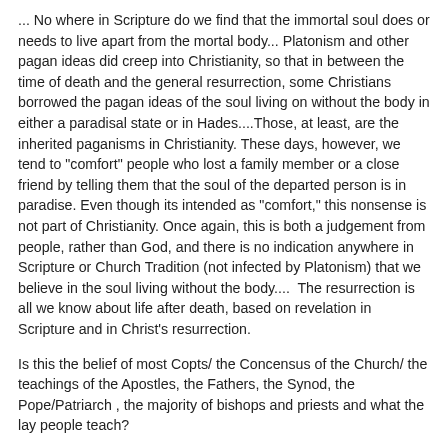... No where in Scripture do we find that the immortal soul does or needs to live apart from the mortal body... Platonism and other pagan ideas did creep into Christianity, so that in between the time of death and the general resurrection, some Christians borrowed the pagan ideas of the soul living on without the body in either a paradisal state or in Hades....Those, at least, are the inherited paganisms in Christianity. These days, however, we tend to "comfort" people who lost a family member or a close friend by telling them that the soul of the departed person is in paradise. Even though its intended as "comfort," this nonsense is not part of Christianity. Once again, this is both a judgement from people, rather than God, and there is no indication anywhere in Scripture or Church Tradition (not infected by Platonism) that we believe in the soul living without the body....  The resurrection is all we know about life after death, based on revelation in Scripture and in Christ's resurrection.
Is this the belief of most Copts/ the Concensus of the Church/ the teachings of the Apostles, the Fathers, the Synod, the Pope/Patriarch , the majority of bishops and priests and what the lay people teach?
I am curious, is the correct Orthodox teaching that there is no immediate consciousness after death?
Can a person in the Coptic Orthodox Church believe the above and still be permitted to take communion?